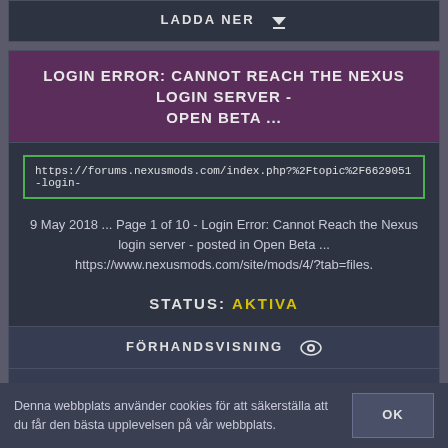LADDA NER ↓
LOGIN ERROR: CANNOT REACH THE NEXUS LOGIN SERVER - OPEN BETA ...
https://forums.nexusmods.com/index.php?%2Ftopic%2F6629051-login-
9 May 2018 ... Page 1 of 10 - Login Error: Cannot Reach the Nexus login server - posted in Open Beta ... https://www.nexusmods.com/site/mods/4/?tab=files.
STATUS: AKTIVA
FÖRHANDSVISNING 👁
LADDA NER ↓
Denna webbplats använder cookies för att säkerställa att du får den bästa upplevelsen på vår webbplats.
OK